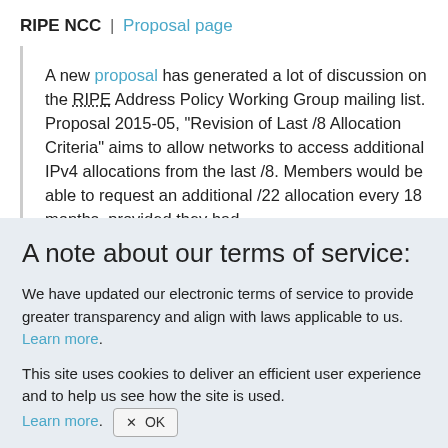RIPE NCC | Proposal page
A new proposal has generated a lot of discussion on the RIPE Address Policy Working Group mailing list. Proposal 2015-05, "Revision of Last /8 Allocation Criteria" aims to allow networks to access additional IPv4 allocations from the last /8. Members would be able to request an additional /22 allocation every 18 months, provided they had
A note about our terms of service:
We have updated our electronic terms of service to provide greater transparency and align with laws applicable to us. Learn more.
This site uses cookies to deliver an efficient user experience and to help us see how the site is used. Learn more. OK